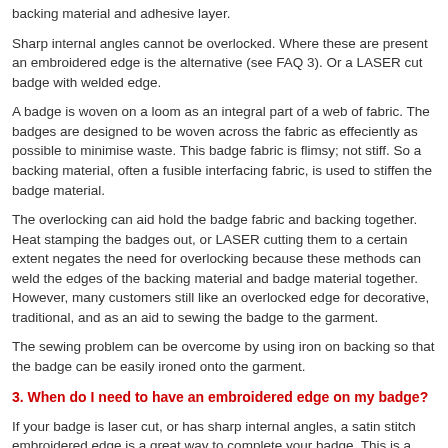backing material and adhesive layer.
Sharp internal angles cannot be overlocked. Where these are present an embroidered edge is the alternative (see FAQ 3). Or a LASER cut badge with welded edge.
A badge is woven on a loom as an integral part of a web of fabric. The badges are designed to be woven across the fabric as effeciently as possible to minimise waste. This badge fabric is flimsy; not stiff. So a backing material, often a fusible interfacing fabric, is used to stiffen the badge material.
The overlocking can aid hold the badge fabric and backing together. Heat stamping the badges out, or LASER cutting them to a certain extent negates the need for overlocking because these methods can weld the edges of the backing material and badge material together. However, many customers still like an overlocked edge for decorative, traditional, and as an aid to sewing the badge to the garment.
The sewing problem can be overcome by using iron on backing so that the badge can be easily ironed onto the garment.
3. When do I need to have an embroidered edge on my badge?
If your badge is laser cut, or has sharp internal angles, a satin stitch embroidered edge is a great way to complete your badge. This is a more expensive alternative to overlocking. It is most commonly used on the edge of heat applied badges used on football and other